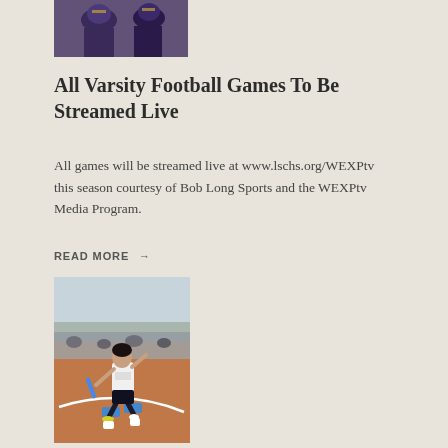[Figure (photo): Partial photo of football players in purple uniforms, cropped at top of page]
All Varsity Football Games To Be Streamed Live
All games will be streamed live at www.lschs.org/WEXPtv this season courtesy of Bob Long Sports and the WEXPtv Media Program.
READ MORE →
[Figure (photo): A track runner in starting position on a red track, holding a blue relay baton, with crowd visible in background]